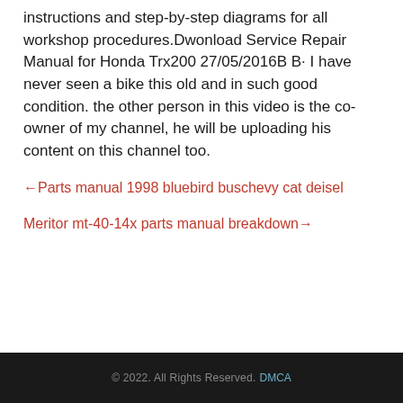instructions and step-by-step diagrams for all workshop procedures.Dwonload Service Repair Manual for Honda Trx200 27/05/2016B B· I have never seen a bike this old and in such good condition. the other person in this video is the co-owner of my channel, he will be uploading his content on this channel too.
←Parts manual 1998 bluebird buschevy cat deisel
Meritor mt-40-14x parts manual breakdown→
© 2022. All Rights Reserved. DMCA